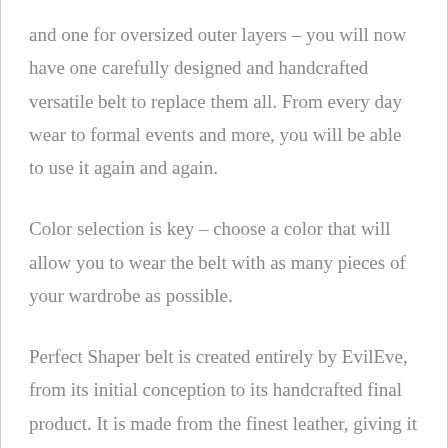and one for oversized outer layers – you will now have one carefully designed and handcrafted versatile belt to replace them all. From every day wear to formal events and more, you will be able to use it again and again.
Color selection is key – choose a color that will allow you to wear the belt with as many pieces of your wardrobe as possible.
Perfect Shaper belt is created entirely by EvilEve, from its initial conception to its handcrafted final product. It is made from the finest leather, giving it durability and comfort. A highly useful, timeless accessory at an affordable price. Highly recommended!